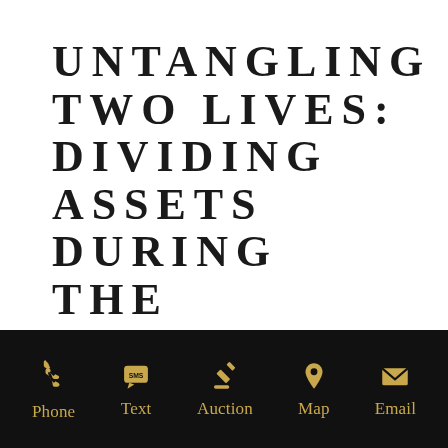UNTANGLING TWO LIVES: DIVIDING ASSETS DURING THE DIVORCE PROCESS
When you are going through the divorce process, it is important to monitor how much
[Figure (infographic): Black footer bar with five gold icons and labels: Phone (phone handset icon), Text (SMS bubble icon), Auction (gavel icon), Map (map pin icon), Email (envelope icon)]